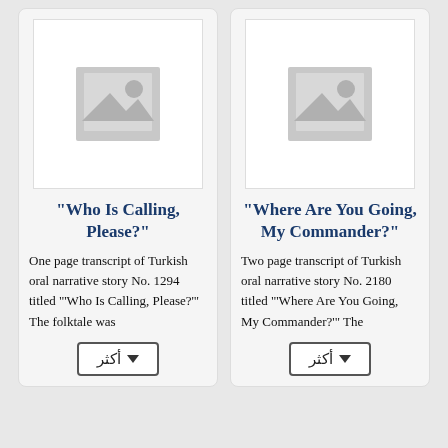[Figure (illustration): Placeholder image icon for 'Who Is Calling, Please?' story card]
"Who Is Calling, Please?"
One page transcript of Turkish oral narrative story No. 1294 titled "'Who Is Calling, Please?'" The folktale was
[Figure (illustration): Placeholder image icon for 'Where Are You Going, My Commander?' story card]
"Where Are You Going, My Commander?"
Two page transcript of Turkish oral narrative story No. 2180 titled "'Where Are You Going, My Commander?'" The